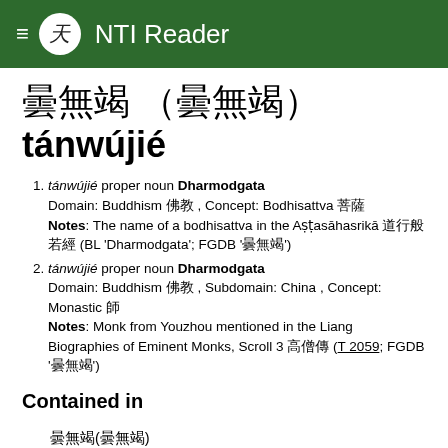NTI Reader
曇無竭 (曇無竭) tánwújié
tánwújié proper noun Dharmodgata
Domain: Buddhism 佛教 , Concept: Bodhisattva 菩薩
Notes: The name of a bodhisattva in the Aṣṭasāhasrikā 道行般若經 (BL 'Dharmodgata'; FGDB '曇無竭')
tánwújié proper noun Dharmodgata
Domain: Buddhism 佛教 , Subdomain: China , Concept: Monastic 師
Notes: Monk from Youzhou mentioned in the Liang Biographies of Eminent Monks, Scroll 3 高僧傳 (T 2059; FGDB '曇無竭')
Contained in
曇無竭(曇無竭)
Dharmodgata